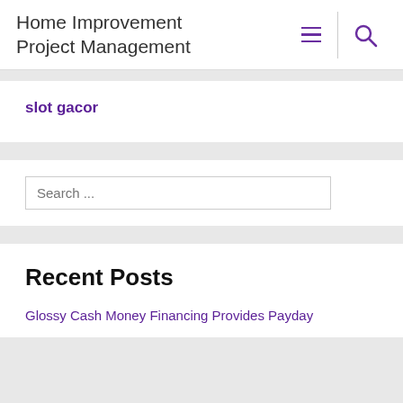Home Improvement Project Management
slot gacor
Search ...
Recent Posts
Glossy Cash Money Financing Provides Payday